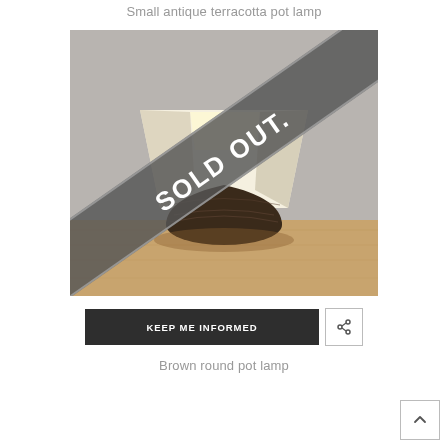Small antique terracotta pot lamp
[Figure (photo): Photo of a brown round pot lamp with a wide cream/white lampshade on a wooden surface, with a diagonal 'SOLD OUT.' banner overlaid in dark grey across the image.]
KEEP ME INFORMED
Brown round pot lamp